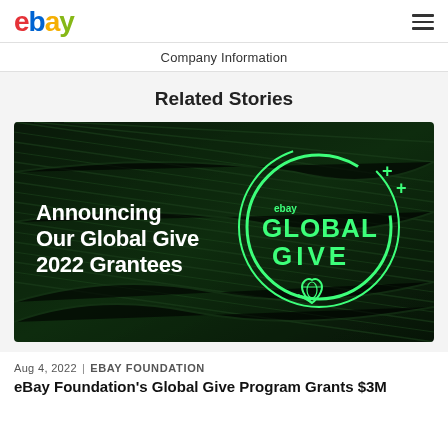ebay [logo] | hamburger menu
Company Information
Related Stories
[Figure (photo): eBay Global Give 2022 promotional image with dark green feather background. Left side text: 'Announcing Our Global Give 2022 Grantees'. Right side: eBay Global Give logo with globe-heart icon and plus signs, all in bright green on dark green.]
Aug 4, 2022 | EBAY FOUNDATION
eBay Foundation's Global Give Program Grants $3M